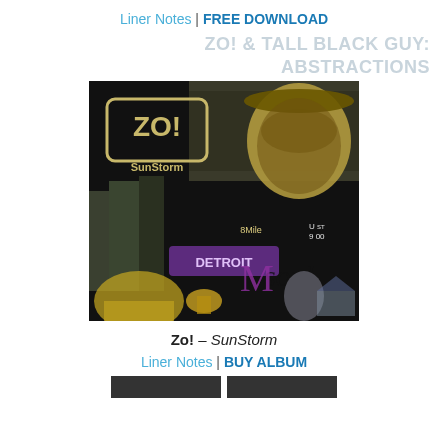Liner Notes | FREE DOWNLOAD
ZO! & TALL BLACK GUY: ABSTRACTIONS
[Figure (photo): Album cover for Zo! SunStorm featuring a collage of Detroit city imagery, a crowd, a man wearing a cap, text reading ZO!, SunStorm, DETROIT, 8Mile, soul]
Zo! – SunStorm
Liner Notes | BUY ALBUM